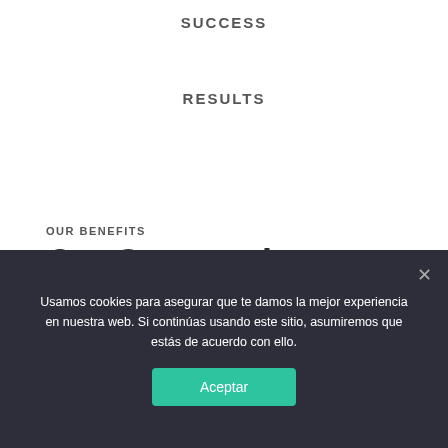SUCCESS
RESULTS
OUR BENEFITS
Our Success in Numbers
Success in Treatment
Usamos cookies para asegurar que te damos la mejor experiencia en nuestra web. Si continúas usando este sitio, asumiremos que estás de acuerdo con ello.